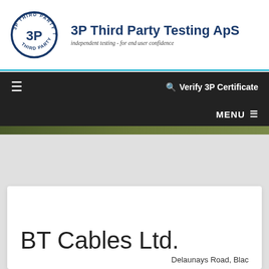[Figure (logo): 3P Third Party Testing ApS circular logo with '3P' in the center and text around the perimeter]
3P Third Party Testing ApS
independent testing - for end user confidence
≡   🔍 Verify 3P Certificate   MENU ≡
BT Cables Ltd.
Delaunays Road, Blac